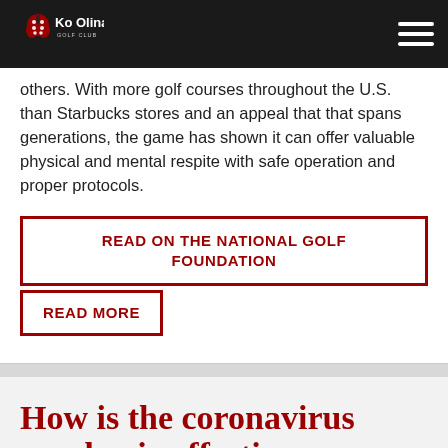Ko Olina Golf Club
others. With more golf courses throughout the U.S. than Starbucks stores and an appeal that that spans generations, the game has shown it can offer valuable physical and mental respite with safe operation and proper protocols.
READ ON THE NATIONAL GOLF FOUNDATION
READ MORE
How is the coronavirus pandemic affecting